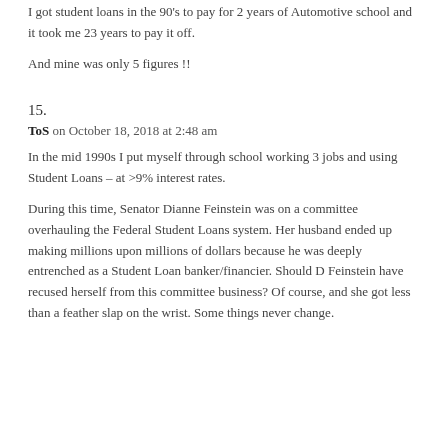I got student loans in the 90's to pay for 2 years of Automotive school and it took me 23 years to pay it off.
And mine was only 5 figures !!
15.
ToS on October 18, 2018 at 2:48 am
In the mid 1990s I put myself through school working 3 jobs and using Student Loans – at >9% interest rates.
During this time, Senator Dianne Feinstein was on a committee overhauling the Federal Student Loans system. Her husband ended up making millions upon millions of dollars because he was deeply entrenched as a Student Loan banker/financier. Should D Feinstein have recused herself from this committee business? Of course, and she got less than a feather slap on the wrist. Some things never change.